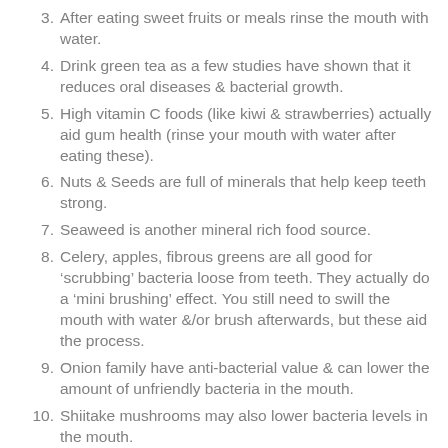3. After eating sweet fruits or meals rinse the mouth with water.
4. Drink green tea as a few studies have shown that it reduces oral diseases & bacterial growth.
5. High vitamin C foods (like kiwi & strawberries) actually aid gum health (rinse your mouth with water after eating these).
6. Nuts & Seeds are full of minerals that help keep teeth strong.
7. Seaweed is another mineral rich food source.
8. Celery, apples, fibrous greens are all good for 'scrubbing' bacteria loose from teeth. They actually do a 'mini brushing' effect. You still need to swill the mouth with water &/or brush afterwards, but these aid the process.
9. Onion family have anti-bacterial value & can lower the amount of unfriendly bacteria in the mouth.
10. Shiitake mushrooms may also lower bacteria levels in the mouth.
11. Open probiotic pills & put them in your mouth directly.